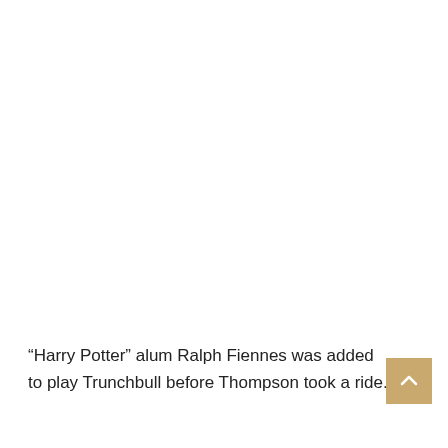“Harry Potter” alum Ralph Fiennes was added to play Trunchbull before Thompson took a ride.